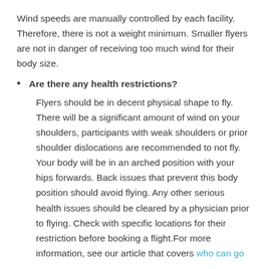Wind speeds are manually controlled by each facility. Therefore, there is not a weight minimum. Smaller flyers are not in danger of receiving too much wind for their body size.
Are there any health restrictions? Flyers should be in decent physical shape to fly. There will be a significant amount of wind on your shoulders, participants with weak shoulders or prior shoulder dislocations are recommended to not fly. Your body will be in an arched position with your hips forwards. Back issues that prevent this body position should avoid flying. Any other serious health issues should be cleared by a physician prior to flying. Check with specific locations for their restriction before booking a flight.For more information, see our article that covers who can go